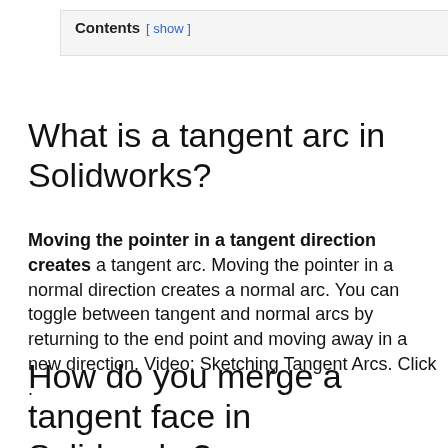Contents [ show ]
What is a tangent arc in Solidworks?
Moving the pointer in a tangent direction creates a tangent arc. Moving the pointer in a normal direction creates a normal arc. You can toggle between tangent and normal arcs by returning to the end point and moving away in a new direction. Video: Sketching Tangent Arcs. Click .
How do you merge a tangent face in Solidworks?